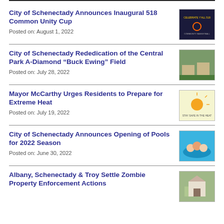City of Schenectady Announces Inaugural 518 Common Unity Cup
Posted on: August 1, 2022
[Figure (photo): Promotional image for the 518 Common Unity Cup event]
City of Schenectady Rededication of the Central Park A-Diamond “Buck Ewing” Field
Posted on: July 28, 2022
[Figure (photo): Photo of the Central Park A-Diamond Buck Ewing Field rededication ceremony]
Mayor McCarthy Urges Residents to Prepare for Extreme Heat
Posted on: July 19, 2022
[Figure (infographic): Infographic with tips for preparing for extreme heat]
City of Schenectady Announces Opening of Pools for 2022 Season
Posted on: June 30, 2022
[Figure (photo): Photo of people in a swimming pool]
Albany, Schenectady & Troy Settle Zombie Property Enforcement Actions
[Figure (photo): Photo related to zombie property enforcement]